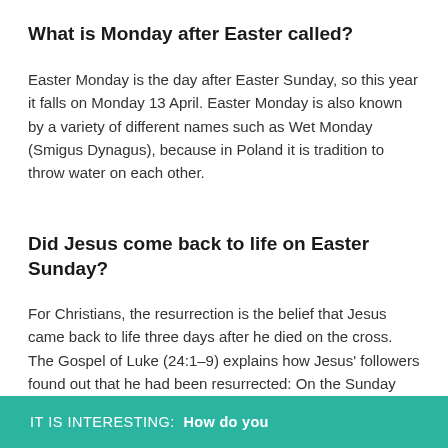What is Monday after Easter called?
Easter Monday is the day after Easter Sunday, so this year it falls on Monday 13 April. Easter Monday is also known by a variety of different names such as Wet Monday (Smigus Dynagus), because in Poland it is tradition to throw water on each other.
Did Jesus come back to life on Easter Sunday?
For Christians, the resurrection is the belief that Jesus came back to life three days after he died on the cross. The Gospel of Luke (24:1–9) explains how Jesus' followers found out that he had been resurrected: On the Sunday after Jesus' death, Jesus' female followers went to visit his tomb.
IT IS INTERESTING:  How do you